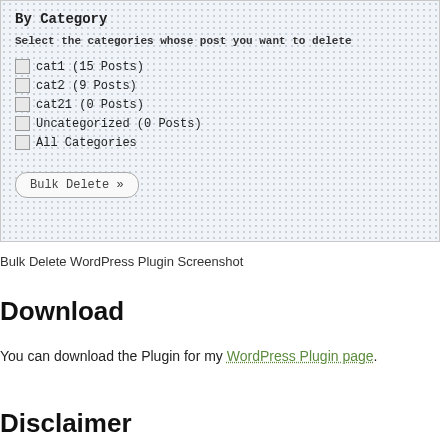[Figure (screenshot): WordPress admin panel screenshot showing 'By Category' section with checkboxes for cat1 (15 Posts), cat2 (9 Posts), cat21 (0 Posts), Uncategorized (0 Posts), All Categories, and a 'Bulk Delete »' button.]
Bulk Delete WordPress Plugin Screenshot
Download
You can download the Plugin for my WordPress Plugin page.
Disclaimer